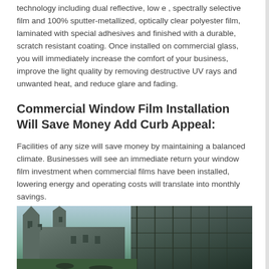technology including dual reflective, low e , spectrally selective film and 100% sputter-metallized, optically clear polyester film, laminated with special adhesives and finished with a durable, scratch resistant coating. Once installed on commercial glass, you will immediately increase the comfort of your business, improve the light quality by removing destructive UV rays and unwanted heat, and reduce glare and fading.
Commercial Window Film Installation Will Save Money Add Curb Appeal:
Facilities of any size will save money by maintaining a balanced climate. Businesses will see an immediate return your window film investment when commercial films have been installed, lowering energy and operating costs will translate into monthly savings.
Achieve glazing curb appeal with our premium window film solutions at glass tinting works.
[Figure (photo): Photo showing a castle building on the left side and scaffolding/construction on the right side, with sky visible in the background.]